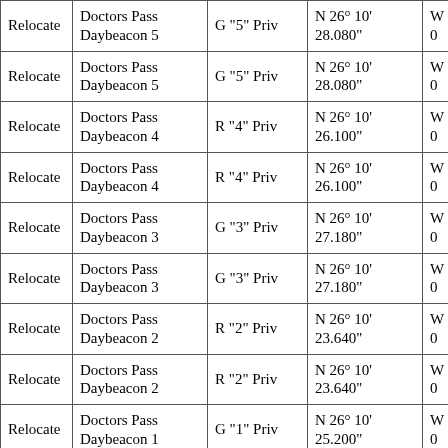| Relocate | Doctors Pass Daybeacon 5 | G "5" Priv | N 26° 10' 28.080" | W 0 |
| Relocate | Doctors Pass Daybeacon 5 | G "5" Priv | N 26° 10' 28.080" | W 0 |
| Relocate | Doctors Pass Daybeacon 4 | R "4" Priv | N 26° 10' 26.100" | W 0 |
| Relocate | Doctors Pass Daybeacon 4 | R "4" Priv | N 26° 10' 26.100" | W 0 |
| Relocate | Doctors Pass Daybeacon 3 | G "3" Priv | N 26° 10' 27.180" | W 0 |
| Relocate | Doctors Pass Daybeacon 3 | G "3" Priv | N 26° 10' 27.180" | W 0 |
| Relocate | Doctors Pass Daybeacon 2 | R "2" Priv | N 26° 10' 23.640" | W 0 |
| Relocate | Doctors Pass Daybeacon 2 | R "2" Priv | N 26° 10' 23.640" | W 0 |
| Relocate | Doctors Pass Daybeacon 1 | G "1" Priv | N 26° 10' 25.200" | W 0 |
| Relocate | Doctors Pass Daybeacon 1 | G "1" Priv | N 26° 10' 25.200" | W 0 |
| Add | Coon Key Light | Fl 4s 22ft 6M | N 25° 54' 08.000" | W 0 |
| Delete | Coon Key Light | Fl 4s 22ft 6M | N 25° 53' 54.210" | W 0 |